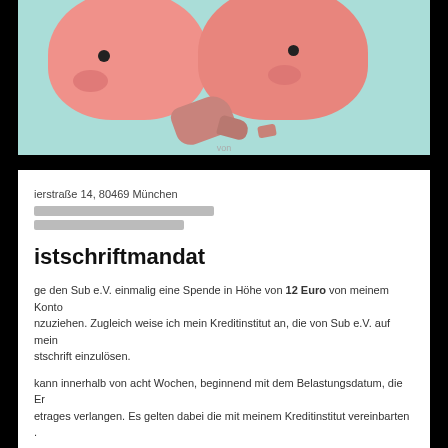[Figure (illustration): Illustration of two broken pink piggy banks on a teal/mint background, with ceramic shards scattered between them. Each piggy bank has a black eye and a pink snout.]
ierstraße 14, 80469 München
[redacted email and contact information]
istschriftmandat
ge den Sub e.V. einmalig eine Spende in Höhe von 12 Euro von meinem Konto nzuziehen. Zugleich weise ich mein Kreditinstitut an, die von Sub e.V. auf mein stschrift einzulösen.
kann innerhalb von acht Wochen, beginnend mit dem Belastungsdatum, die Er etrages verlangen. Es gelten dabei die mit meinem Kreditinstitut vereinbarten .
ctions [redacted]